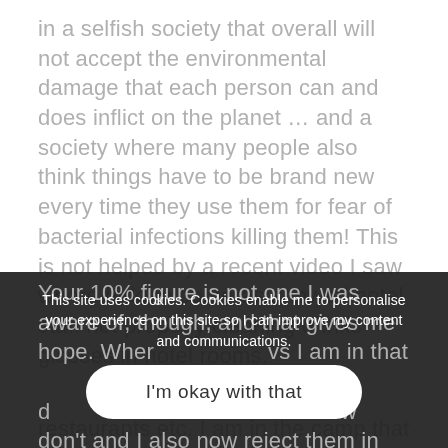in a selfish society that overall will not accept the environmental damage that each person can and does inflict on the planet … and a society where many people also think things have to be brand new every time they use them for fear of bacterial infections killing them! This is not helped by a recent video I saw where hidden cameras showed hotel staff not properly cleaning drinks glasses in hotel rooms.
Your 10% figure is not one I was aware of, though, and that gives me hope. When ... vs I am in that ... my ... but now don't and I also now reject them in restaurants etc. I am in the camp that
This site uses cookies. Cookies enable me to personalise your experience on this site so I can improve my content and communications.
I'm okay with that